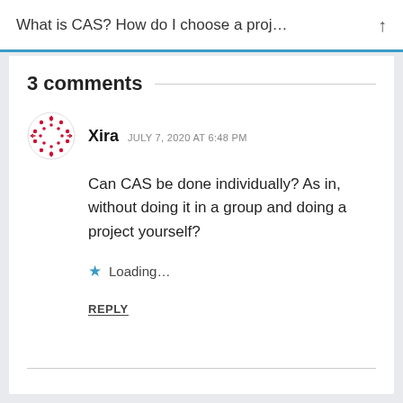What is CAS? How do I choose a proj…
3 comments
Xira   JULY 7, 2020 AT 6:48 PM
Can CAS be done individually? As in, without doing it in a group and doing a project yourself?
Loading...
REPLY